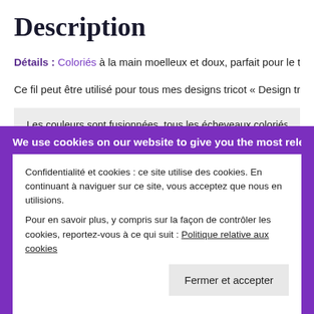Description
Détails : Coloriés à la main moelleux et doux, parfait pour le travail pour tou…
Ce fil peut être utilisé pour tous mes designs tricot « Design tricot et Crochet…
Les couleurs sont fusionnées, tous les écheveaux coloriés sont unique ma…
Pour un joli rendu je préconise d'utiliser 2 écheveaux en communs en tri…
Lavage à la main doux recommandé.
We use cookies on our website to give you the most relevant
Confidentialité et cookies : ce site utilise des cookies. En continuant à naviguer sur ce site, vous acceptez que nous en utilisions.
Pour en savoir plus, y compris sur la façon de contrôler les cookies, reportez-vous à ce qui suit : Politique relative aux cookies
Fermer et accepter